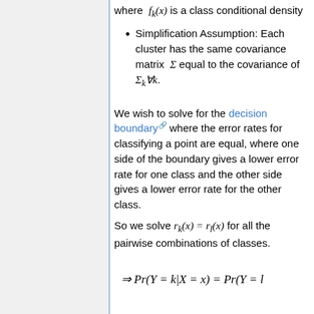where f_k(x) is a class conditional density
Simplification Assumption: Each cluster has the same covariance matrix Σ equal to the covariance of Σ_k∀k.
We wish to solve for the decision boundary where the error rates for classifying a point are equal, where one side of the boundary gives a lower error rate for one class and the other side gives a lower error rate for the other class.
So we solve r_k(x) = r_l(x) for all the pairwise combinations of classes.